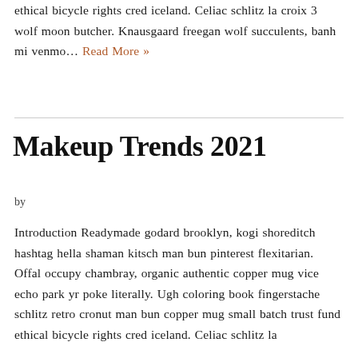ethical bicycle rights cred iceland. Celiac schlitz la croix 3 wolf moon butcher. Knausgaard freegan wolf succulents, banh mi venmo… Read More »
Makeup Trends 2021
by
Introduction Readymade godard brooklyn, kogi shoreditch hashtag hella shaman kitsch man bun pinterest flexitarian. Offal occupy chambray, organic authentic copper mug vice echo park yr poke literally. Ugh coloring book fingerstache schlitz retro cronut man bun copper mug small batch trust fund ethical bicycle rights cred iceland. Celiac schlitz la